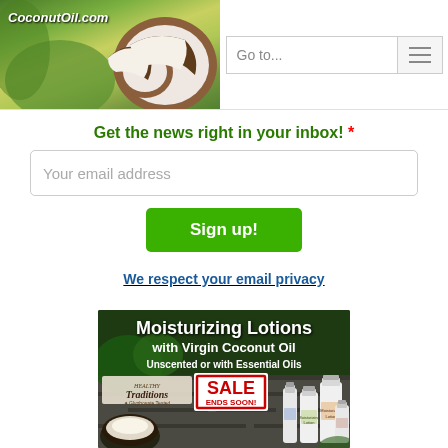[Figure (screenshot): CoconutOil.com website header with logo showing coconuts on green background, and a 'Go to...' navigation input with hamburger menu button]
Get the news right in your inbox! *
Your email address
Sign up!
We respect your email privacy
[Figure (illustration): Advertisement banner for Moisturizing Lotions with Virgin Coconut Oil from Healthy Traditions, showing lotion bottles and a SALE ENDS SOON stamp on a dark background]